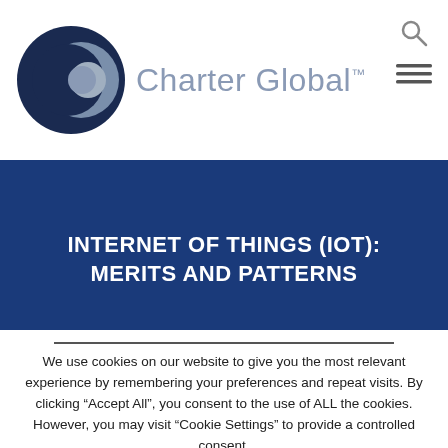[Figure (logo): Charter Global logo: dark navy/blue circle with a grey crescent, beside the text 'Charter Global' in light grey with a TM superscript, and search/menu icons top-right]
INTERNET OF THINGS (IOT): MERITS AND PATTERNS
We use cookies on our website to give you the most relevant experience by remembering your preferences and repeat visits. By clicking “Accept All”, you consent to the use of ALL the cookies. However, you may visit "Cookie Settings" to provide a controlled consent.